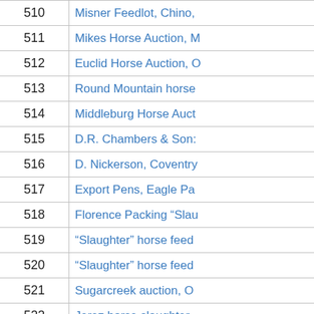| Number | Name |
| --- | --- |
| 510 | Misner Feedlot, Chino, |
| 511 | Mikes Horse Auction, M |
| 512 | Euclid Horse Auction, O |
| 513 | Round Mountain horse |
| 514 | Middleburg Horse Auct |
| 515 | D.R. Chambers & Sons |
| 516 | D. Nickerson, Coventry |
| 517 | Export Pens, Eagle Pa |
| 518 | Florence Packing "Slau |
| 519 | "Slaughter" horse feed |
| 520 | "Slaughter" horse feed |
| 521 | Sugarcreek auction, O |
| 522 | Jerez horse slaughter |
| 523 | New Mexico Export Fa |
| 524 | Texas Department of A |